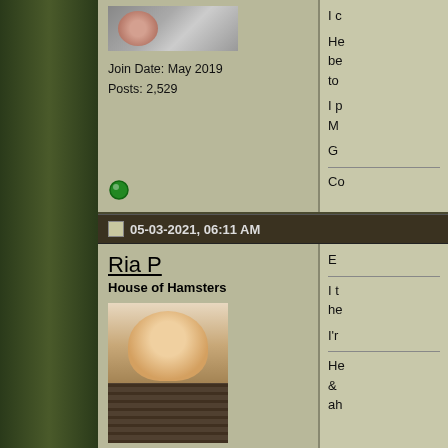[Figure (photo): Partial avatar image of a person at top of page]
Join Date: May 2019
Posts: 2,529
[Figure (other): Green online status indicator dot]
05-03-2021, 06:11 AM
Ria P
House of Hamsters
[Figure (photo): Avatar photo of a hamster peering through wooden bars]
Join Date: Mar 2019
Location: Wiltshire, UK
Posts: 6,489
[Figure (other): Grey/blue offline status indicator dot]